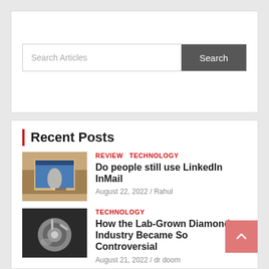Search
[Figure (screenshot): Search bar with placeholder text 'Search Articles' and a dark grey 'Search' button]
Recent Posts
[Figure (photo): Laptop on a desk with a cycling website on screen]
REVIEW  TECHNOLOGY
Do people still use LinkedIn InMail
August 22, 2022 / Rahul
[Figure (photo): Close-up of a diamond ring on a dark background]
TECHNOLOGY
How the Lab-Grown Diamond Industry Became So Controversial
August 21, 2022 / dr doom
[Figure (photo): Chess piece on a blue and white background]
SPORTS
How Satta King 786 online games